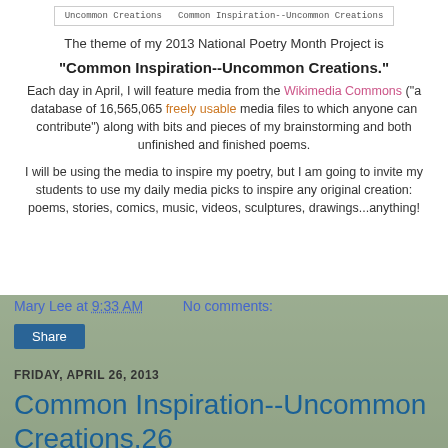[Figure (logo): Logo banner reading 'Uncommon Creations  Common Inspiration--Uncommon Creations' in monospace font inside a bordered box]
The theme of my 2013 National Poetry Month Project is
"Common Inspiration--Uncommon Creations."
Each day in April, I will feature media from the Wikimedia Commons ("a database of 16,565,065 freely usable media files to which anyone can contribute") along with bits and pieces of my brainstorming and both unfinished and finished poems.
I will be using the media to inspire my poetry, but I am going to invite my students to use my daily media picks to inspire any original creation: poems, stories, comics, music, videos, sculptures, drawings...anything!
Mary Lee at 9:33 AM    No comments:
Share
FRIDAY, APRIL 26, 2013
Common Inspiration--Uncommon Creations.26